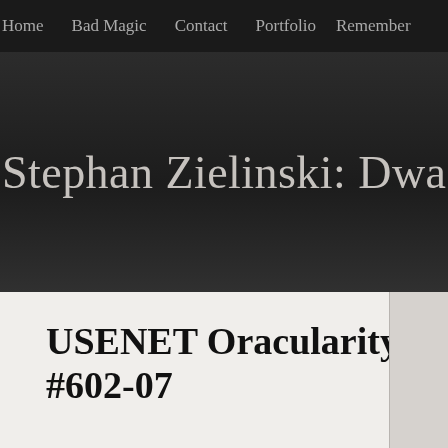Home   Bad Magic   Contact   Portfolio   Remember
Stephan Zielinski: Dwa
USENET Oracularity #602-07
The Usenet Oracle has pondered your question deeply. Your question...